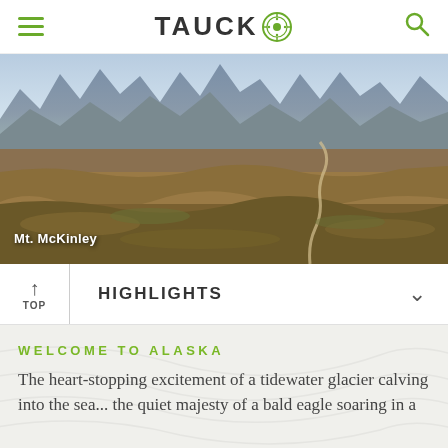TAUCK
[Figure (photo): Panoramic landscape photo of Denali / Mt. McKinley area showing vast tundra in autumn colors with mountains in the background and a winding road.]
Mt. McKinley
HIGHLIGHTS
WELCOME TO ALASKA
The heart-stopping excitement of a tidewater glacier calving into the sea... the quiet majesty of a bald eagle soaring in a